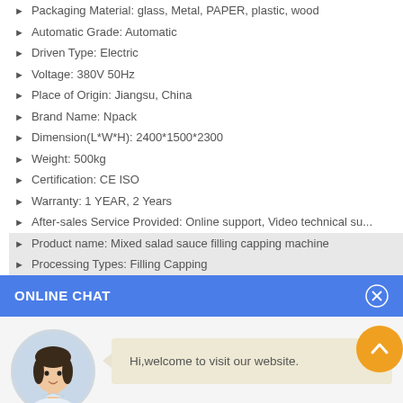Packaging Material: glass, Metal, PAPER, plastic, wood
Automatic Grade: Automatic
Driven Type: Electric
Voltage: 380V 50Hz
Place of Origin: Jiangsu, China
Brand Name: Npack
Dimension(L*W*H): 2400*1500*2300
Weight: 500kg
Certification: CE ISO
Warranty: 1 YEAR, 2 Years
After-sales Service Provided: Online support, Video technical su...
Product name: Mixed salad sauce filling capping machine
Processing Types: Filling Capping
ONLINE CHAT
[Figure (illustration): Online chat widget with avatar of a woman named Cilina and a welcome message bubble saying 'Hi,welcome to visit our website.']